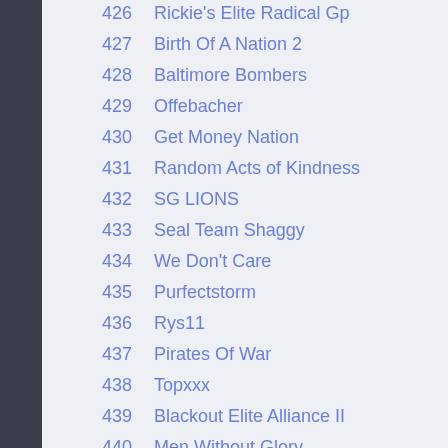426  Rickie's Elite Radical Gp
427  Birth Of A Nation 2
428  Baltimore Bombers
429  Offebacher
430  Get Money Nation
431  Random Acts of Kindness
432  SG LIONS
433  Seal Team Shaggy
434  We Don't Care
435  Purfectstorm
436  Rys11
437  Pirates Of War
438  Topxxx
439  Blackout Elite Alliance II
440  Men Without Glory
441  F Troop2
442  Faction M Now